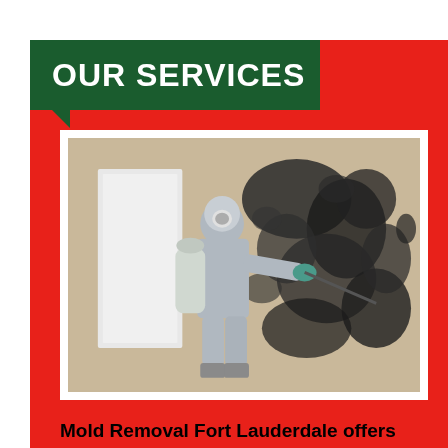OUR SERVICES
[Figure (photo): A person in a full protective suit, respirator mask, and blue gloves spraying treatment on a heavily mold-covered wall using a pump sprayer tank]
Mold Removal Fort Lauderdale offers expert mold removal services with our client’s satisfaction being our ultimate goal. Whether your mold damage is on residential or commercial property, we have years of experience and will pay close